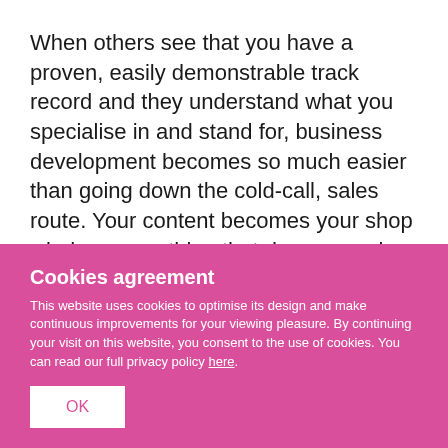When others see that you have a proven, easily demonstrable track record and they understand what you specialise in and stand for, business development becomes so much easier than going down the cold-call, sales route. Your content becomes your shop window, something that draws people in, based on the help you provide.
Cookies agreement
This website uses cookies to optimise its design and make continuous improvements for your viewing pleasure. By continuing your visit on this website, you consent to the use of cookies. You can read our full privacy policy here.